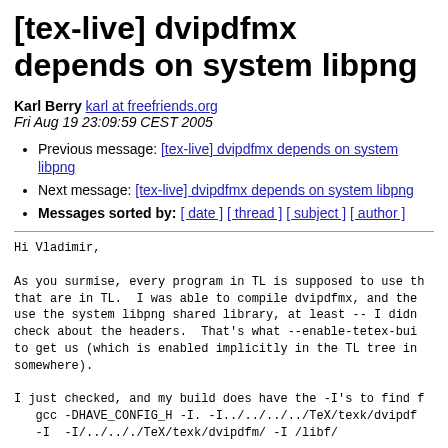[tex-live] dvipdfmx depends on system libpng
Karl Berry karl at freefriends.org
Fri Aug 19 23:09:59 CEST 2005
Previous message: [tex-live] dvipdfmx depends on system libpng
Next message: [tex-live] dvipdfmx depends on system libpng
Messages sorted by: [ date ] [ thread ] [ subject ] [ author ]
Hi Vladimir,

As you surmise, every program in TL is supposed to use th
that are in TL.  I was able to compile dvipdfmx, and the
use the system libpng shared library, at least -- I didn
check about the headers.  That's what --enable-tetex-bui
to get us (which is enabled implicitly in the TL tree in
somewhere).

I just checked, and my build does have the -I's to find f
   gcc -DHAVE_CONFIG_H -I. -I../../../../TeX/texk/dvipdf
   -I  -I/../.././TeX/texk/dvipdfm/ -I /libf/